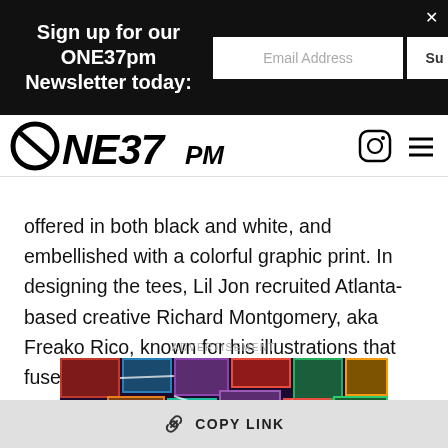Sign up for our ONE37pm Newsletter today:
[Figure (logo): ONE37PM logo with circle graphic and navigation icons]
offered in both black and white, and embellished with a colorful graphic print. In designing the tees, Lil Jon recruited Atlanta-based creative Richard Montgomery, aka Freako Rico, known for his illustrations that fuse the world of comics and hip-hop.
ADVERTISEMENT
[Figure (photo): Colorful advertisement image showing a person surrounded by screens with neon graphics]
COPY LINK